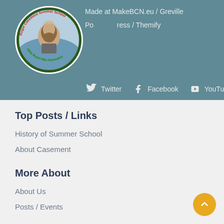Made at MakeBCN.eu / Greville
Powered by WordPress / Themify
[Figure (logo): Roger Casement Summer School circular logo with portrait of man with beard and text around the border reading 'Roger Casement Summer School' and 'Féile Ruairí Mac Easmainn']
Twitter   Facebook   YouTube   Pinterest
Top Posts / Links
History of Summer School
About Casement
More About
About Us
Posts / Events